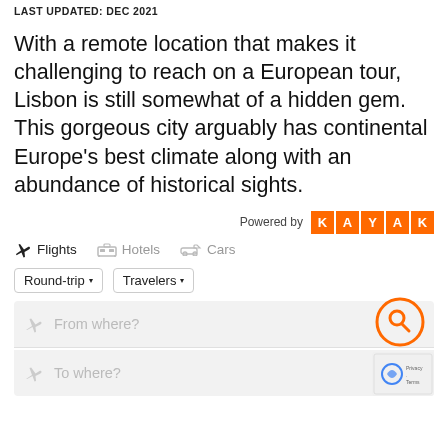LAST UPDATED: DEC 2021
With a remote location that makes it challenging to reach on a European tour, Lisbon is still somewhat of a hidden gem. This gorgeous city arguably has continental Europe's best climate along with an abundance of historical sights.
[Figure (screenshot): KAYAK flight/hotel/car search widget with orange KAYAK logo, tabs for Flights, Hotels, Cars, Round-trip and Travelers dropdowns, and From where? / To where? input fields with a search button.]